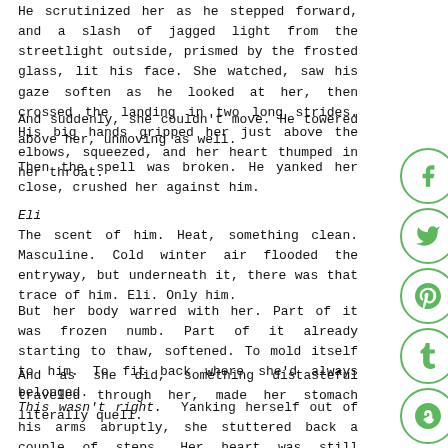He scrutinized her as he stepped forward, and a slash of jagged light from the streetlight outside, prismed by the frosted glass, lit his face. She watched, saw his gaze soften as he looked at her, then crossed the landing in two long strides. His big hands gripped her just above the elbows, squeezed, and her heart thumped in her throat.
And suddenly, she couldn't move. He towered above her, unmoving as well.
Then the spell was broken. He yanked her close, crushed her against him.
Eli
The scent of him. Heat, something clean. Masculine. Cold winter air flooded the entryway, but underneath it, there was that trace of him. Eli. Only him.
But her body warred with her. Part of it was frozen numb. Part of it already starting to thaw, softened. To mold itself to him. To fit back where she'd always belonged.
And as she did, something distasteful traveled through her, made her stomach literally quell.
This wasn't right. Yanking herself out of his arms abruptly, she stuttered back a couple of steps. Her heart was still hammering like mad, but at least his heat was no longer seeping into her pores.
There was the pain again. Harsher. Slicing now, even though she'd pushed it down to a dull, almost-forgotten ache the last couple of